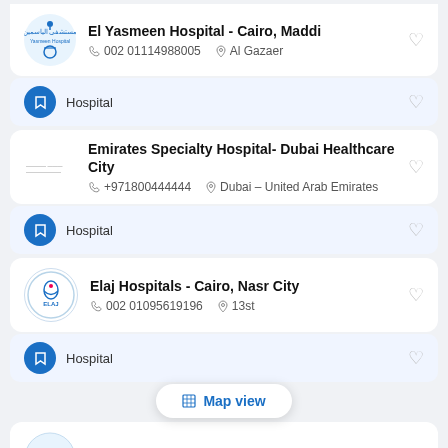[Figure (screenshot): El Yasmeen Hospital - Cairo, Maddi listing card with logo, phone 002 01114988005, location Al Gazaer]
Hospital (tag row with bookmark icon and heart)
[Figure (screenshot): Emirates Specialty Hospital- Dubai Healthcare City listing card, phone +971800444444, location Dubai - United Arab Emirates]
Hospital (tag row with bookmark icon and heart)
[Figure (screenshot): Elaj Hospitals - Cairo, Nasr City listing card with logo, phone 002 01095619196, location 13st]
Hospital (tag row with bookmark icon and heart)
Map view button
[Figure (screenshot): Saudi German Hospital - Dubai, Al Barsha listing card (partially visible)]